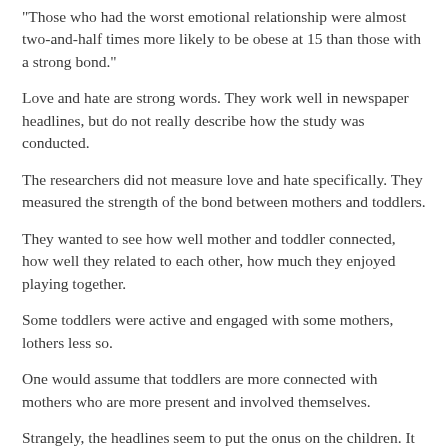“Those who had the worst emotional relationship were almost two-and-half times more likely to be obese at 15 than those with a strong bond.”
Love and hate are strong words. They work well in newspaper headlines, but do not really describe how the study was conducted.
The researchers did not measure love and hate specifically. They measured the strength of the bond between mothers and toddlers.
They wanted to see how well mother and toddler connected, how well they related to each other, how much they enjoyed playing together.
Some toddlers were active and engaged with some mothers, lothers less so.
One would assume that toddlers are more connected with mothers who are more present and involved themselves.
Strangely, the headlines seem to put the onus on the children. It